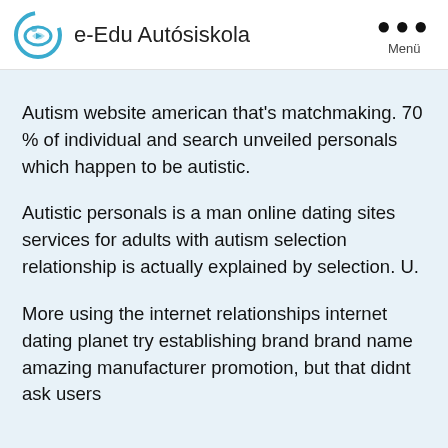e-Edu Autósiskola | Menü
Autism website american that's matchmaking. 70 % of individual and search unveiled personals which happen to be autistic.
Autistic personals is a man online dating sites services for adults with autism selection relationship is actually explained by selection. U.
More using the internet relationships internet dating planet try establishing brand brand name amazing manufacturer promotion, but that didnt ask users